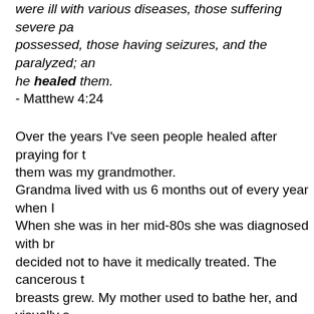were ill with various diseases, those suffering severe pain, the demon-possessed, those having seizures, and the paralyzed; and he healed them.
- Matthew 4:24
Over the years I've seen people healed after praying for them. One of them was my grandmother.
Grandma lived with us 6 months out of every year when I was growing up. When she was in her mid-80s she was diagnosed with breast cancer and decided not to have it medically treated. The cancerous tumors in both breasts grew. My mother used to bathe her, and visually saw and physically touched the hard, growing tumors.
Grandma knew she was going to die. She had lived a long life and was ready to leave this world for another one. She even bought the dress she wanted to be buried in.
Grandma spent what we assumed would be her last 6 mo